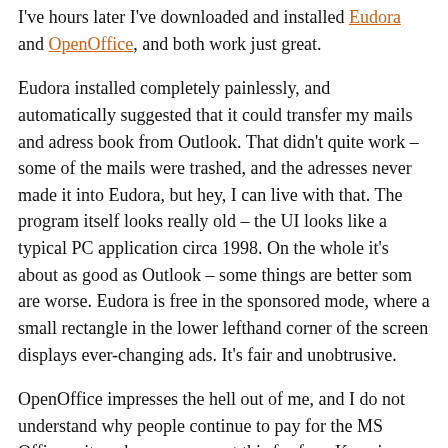I've hours later I've downloaded and installed Eudora and OpenOffice, and both work just great.
Eudora installed completely painlessly, and automatically suggested that it could transfer my mails and adress book from Outlook. That didn't quite work – some of the mails were trashed, and the adresses never made it into Eudora, but hey, I can live with that. The program itself looks really old – the UI looks like a typical PC application circa 1998. On the whole it's about as good as Outlook – some things are better som are worse. Eudora is free in the sponsored mode, where a small rectangle in the lower lefthand corner of the screen displays ever-changing ads. It's fair and unobtrusive.
OpenOffice impresses the hell out of me, and I do not understand why people continue to pay for the MS Office suite, when you can get this for free. Keep in mind, that I've only used it for a few days, but so far it's been able to read all my Office files (including som really complex spreadsheets), and it is impressive.